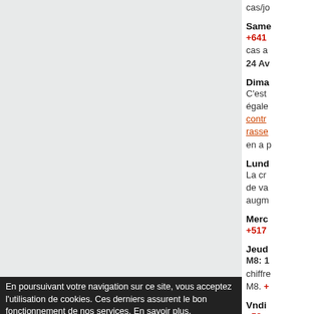cas/jo
Same
+641
cas a
24 Av
Dima
C'est
égale
contro
rasse
en a p
Lund
La cr
de va
augm
Merc
+517
Jeud
M8: 1
chiffre
M8. +
Vndii
+58
Same
En poursuivant votre navigation sur ce site, vous acceptez l'utilisation de cookies. Ces derniers assurent le bon fonctionnement de nos services. En savoir plus.